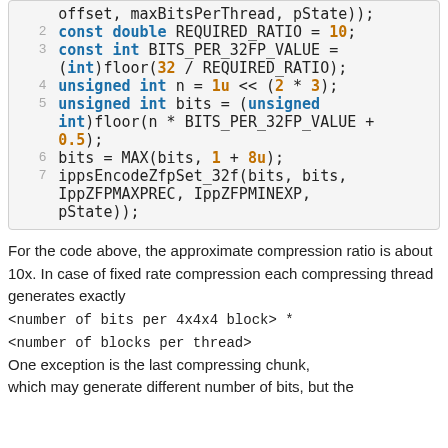[Figure (other): Code snippet showing C++ code lines 2-7 with syntax highlighting: const double REQUIRED_RATIO = 10; const int BITS_PER_32FP_VALUE = (int)floor(32 / REQUIRED_RATIO); unsigned int n = 1u << (2 * 3); unsigned int bits = (unsigned int)floor(n * BITS_PER_32FP_VALUE + 0.5); bits = MAX(bits, 1 + 8u); ippsEncodeZfpSet_32f(bits, bits, IppZFPMAXPREC, IppZFPMINEXP, pState));]
For the code above, the approximate compression ratio is about 10x. In case of fixed rate compression each compressing thread generates exactly
<number of bits per 4x4x4 block> *
<number of blocks per thread>
One exception is the last compressing chunk, which may generate different number of bits, but the